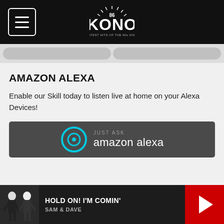KONO 86 radio station header with hamburger menu
AMAZON ALEXA
Enable our Skill today to listen live at home on your Alexa Devices!
[Figure (logo): Just Ask Amazon Alexa button with Alexa ring icon on dark grey background]
HOLD ON! I'M COMIN' - SAM & DAVE player bar with play button